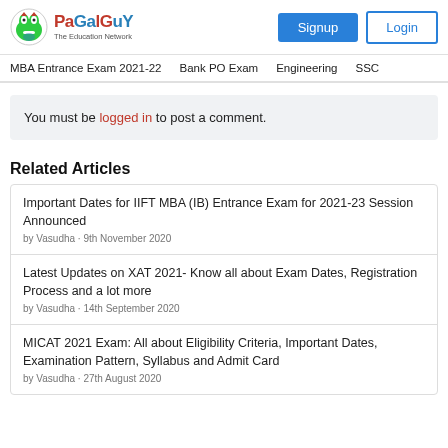PaGaLGuY - The Education Network | Signup | Login
MBA Entrance Exam 2021-22 | Bank PO Exam | Engineering | SSC
You must be logged in to post a comment.
Related Articles
Important Dates for IIFT MBA (IB) Entrance Exam for 2021-23 Session Announced
by Vasudha · 9th November 2020
Latest Updates on XAT 2021- Know all about Exam Dates, Registration Process and a lot more
by Vasudha · 14th September 2020
MICAT 2021 Exam: All about Eligibility Criteria, Important Dates, Examination Pattern, Syllabus and Admit Card
by Vasudha · 27th August 2020